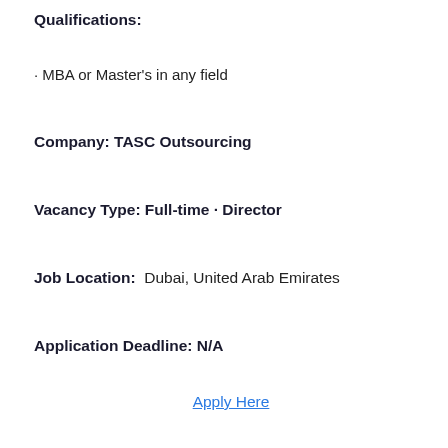Qualifications:
· MBA or Master's in any field
Company: TASC Outsourcing
Vacancy Type: Full-time · Director
Job Location:  Dubai, United Arab Emirates
Application Deadline: N/A
Apply Here
AJKJobs.com